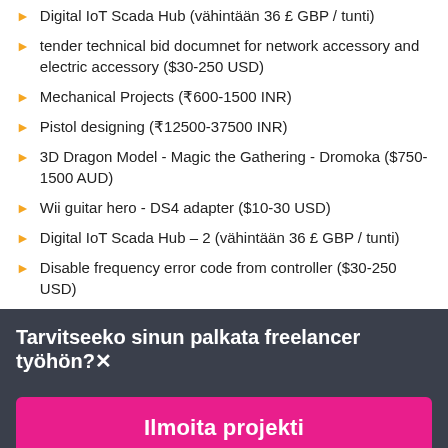Digital IoT Scada Hub (vähintään 36 £ GBP / tunti)
tender technical bid documnet for network accessory and electric accessory ($30-250 USD)
Mechanical Projects (₹600-1500 INR)
Pistol designing (₹12500-37500 INR)
3D Dragon Model - Magic the Gathering - Dromoka ($750-1500 AUD)
Wii guitar hero - DS4 adapter ($10-30 USD)
Digital IoT Scada Hub – 2 (vähintään 36 £ GBP / tunti)
Disable frequency error code from controller ($30-250 USD)
Tarvitseeko sinun palkata freelancer työhön?
Ilmoita projekti